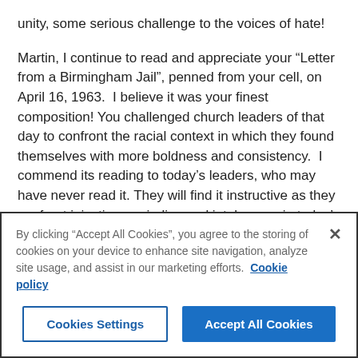unity, some serious challenge to the voices of hate!
Martin, I continue to read and appreciate your “Letter from a Birmingham Jail”, penned from your cell, on April 16, 1963.  I believe it was your finest composition! You challenged church leaders of that day to confront the racial context in which they found themselves with more boldness and consistency.  I commend its reading to today’s leaders, who may have never read it. They will find it instructive as they confront injustice, prejudice and intolerance in today’s racial context.
While I write today with disappointment, it is not without hope.
By clicking “Accept All Cookies”, you agree to the storing of cookies on your device to enhance site navigation, analyze site usage, and assist in our marketing efforts.  Cookie policy
Cookies Settings
Accept All Cookies